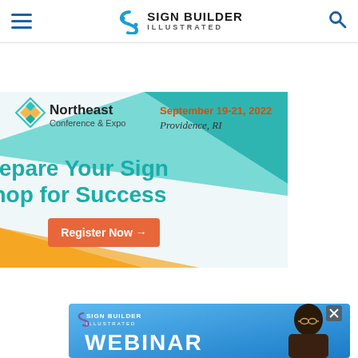Sign Builder Illustrated — navigation bar with hamburger menu, logo, and search icon
[Figure (advertisement): Northeast Conference & Expo advertisement banner. Text: September 19-21, 2022 Providence, RI. Prepare Your Sign Shop for Success. Register Now arrow button. Teal and yellow geometric shapes on light background.]
[Figure (advertisement): Sign Builder Illustrated Webinar promotional banner with blue gradient background, SBI logo, woman with glasses smiling, and text 'WEBINAR' in white bold letters. Close X button top right.]